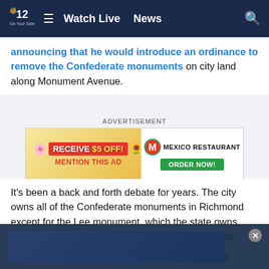NBC12 — Watch Live  News
announcing that he would introduce an ordinance to remove the Confederate monuments on city land along Monument Avenue.
[Figure (other): Advertisement banner: RECEIVE $5 OFF! MENTION THIS AD — Mexico Restaurant ORDER NOW!]
It's been a back and forth debate for years. The city owns all of the Confederate monuments in Richmond except for the Lee monument, which the state owns. Now there are renewed efforts to get rid of them all.
Huge crowds gathered around the Lee monument Wednesday... connecting... ment